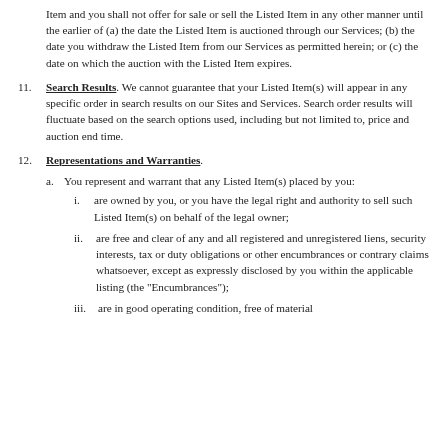Item and you shall not offer for sale or sell the Listed Item in any other manner until the earlier of (a) the date the Listed Item is auctioned through our Services; (b) the date you withdraw the Listed Item from our Services as permitted herein; or (c) the date on which the auction with the Listed Item expires.
11. Search Results. We cannot guarantee that your Listed Item(s) will appear in any specific order in search results on our Sites and Services. Search order results will fluctuate based on the search options used, including but not limited to, price and auction end time.
12. Representations and Warranties.
a. You represent and warrant that any Listed Item(s) placed by you:
i. are owned by you, or you have the legal right and authority to sell such Listed Item(s) on behalf of the legal owner;
ii. are free and clear of any and all registered and unregistered liens, security interests, tax or duty obligations or other encumbrances or contrary claims whatsoever, except as expressly disclosed by you within the applicable listing (the "Encumbrances");
iii. are in good operating condition, free of material